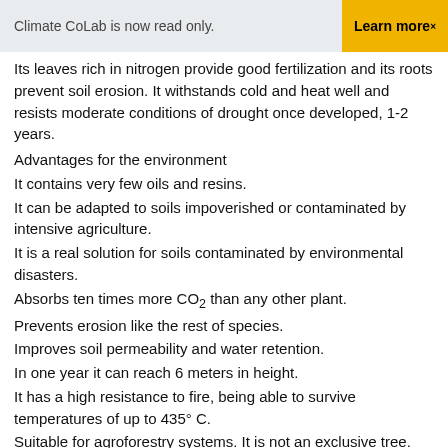Climate CoLab is now read only.   Learn more×
Its leaves rich in nitrogen provide good fertilization and its roots prevent soil erosion. It withstands cold and heat well and resists moderate conditions of drought once developed, 1-2 years.
Advantages for the environment
It contains very few oils and resins.
It can be adapted to soils impoverished or contaminated by intensive agriculture.
It is a real solution for soils contaminated by environmental disasters.
Absorbs ten times more CO2 than any other plant.
Prevents erosion like the rest of species.
Improves soil permeability and water retention.
In one year it can reach 6 meters in height.
It has a high resistance to fire, being able to survive temperatures of up to 435° C.
Suitable for agroforestry systems. It is not an exclusive tree.
Uses of the Kiri.
The leaves can be useful as fodder because they have a very